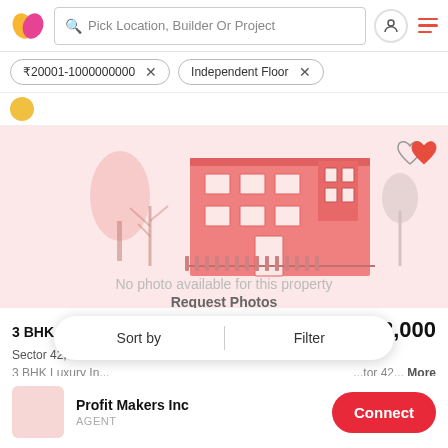Pick Location, Builder Or Project
₹20001-1000000000  ×    Independent Floor  ×
[Figure (illustration): Real estate property listing app screenshot showing a house illustration placeholder with text 'No photo available for this property' and a 'Request Photos' link]
3 BHK Independent Floor 1,700 sq ft    ₹28,000
Sector 42, Far...
3 BHK Luxury In...    ...tor 42...  More
Profit Makers Inc
AGENT
Connect